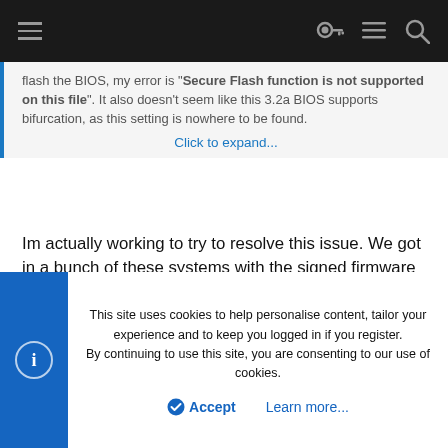Navigation bar with hamburger menu and icons
flash the BIOS, my error is "Secure Flash function is not supported on this file". It also doesn't seem like this 3.2a BIOS supports bifurcation, as this setting is nowhere to be found.
Click to expand...
Im actually working to try to resolve this issue. We got in a bunch of these systems with the signed firmware that cannot be upgraded. I will keep everyone posted. If somebody has figured out how to fix this issue I would be happy to compensate for the info.
Samir
This site uses cookies to help personalise content, tailor your experience and to keep you logged in if you register. By continuing to use this site, you are consenting to our use of cookies.
Accept   Learn more...